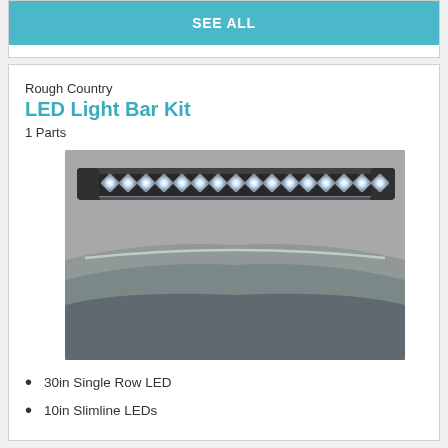SEE ALL
Rough Country
LED Light Bar Kit
1 Parts
[Figure (photo): LED light bar mounted on the roof of a vehicle, showing a 30-inch single row LED bar with multiple diamond-shaped lenses installed above the windshield on a gray SUV/truck]
30in Single Row LED
10in Slimline LEDs